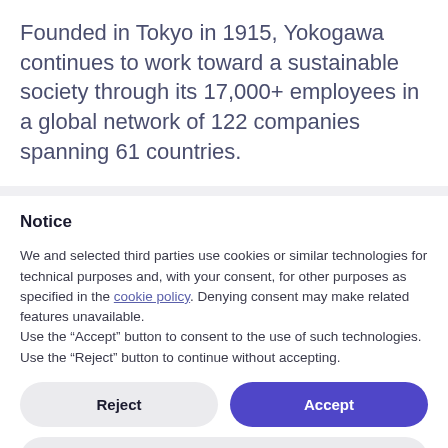Founded in Tokyo in 1915, Yokogawa continues to work toward a sustainable society through its 17,000+ employees in a global network of 122 companies spanning 61 countries.
Notice
We and selected third parties use cookies or similar technologies for technical purposes and, with your consent, for other purposes as specified in the cookie policy. Denying consent may make related features unavailable.
Use the “Accept” button to consent to the use of such technologies. Use the “Reject” button to continue without accepting.